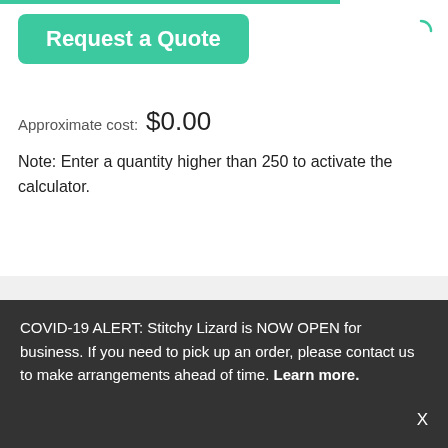Request a Quote
Approximate cost: $0.00
Note: Enter a quantity higher than 250 to activate the calculator.
Description
Reviews
COVID-19 ALERT: Stitchy Lizard is NOW OPEN for business. If you need to pick up an order, please contact us to make arrangements ahead of time. Learn more.